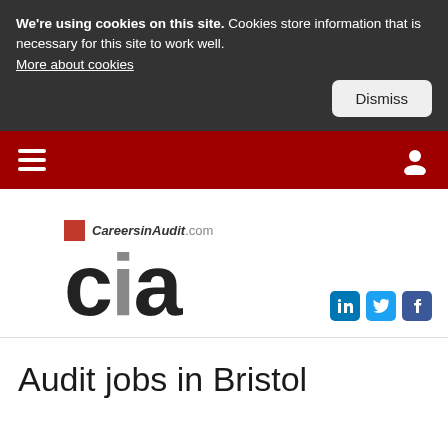We're using cookies on this site. Cookies store information that is necessary for this site to work well. More about cookies
Navigation bar with hamburger menu and user icon
[Figure (logo): CareersinAudit.com logo with large 'cia' letters, red square before the 'i', and social media icons for LinkedIn, Twitter, and Facebook]
Audit jobs in Bristol